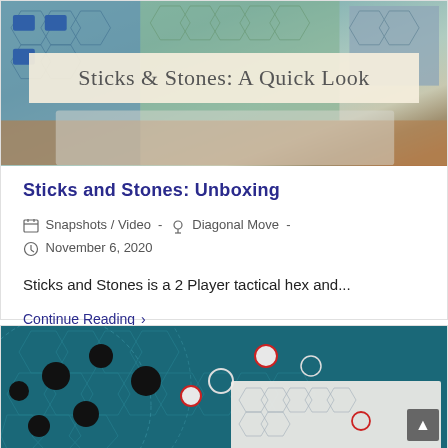[Figure (photo): Top photo of a board game (Sticks & Stones) showing hex tiles and game components with a title banner overlay reading 'Sticks & Stones: A Quick Look']
Sticks and Stones: Unboxing
Snapshots / Video  -  Diagonal Move  -  November 6, 2020
Sticks and Stones is a 2 Player tactical hex and...
Continue Reading >
[Figure (photo): Bottom photo showing a hex wargame board with black circular pieces, red-circled units, and map overlays on a teal background]